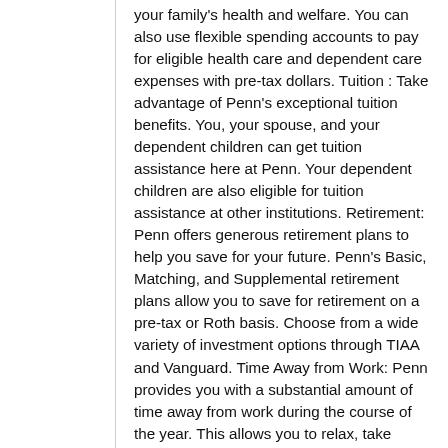your family's health and welfare. You can also use flexible spending accounts to pay for eligible health care and dependent care expenses with pre-tax dollars. Tuition : Take advantage of Penn's exceptional tuition benefits. You, your spouse, and your dependent children can get tuition assistance here at Penn. Your dependent children are also eligible for tuition assistance at other institutions. Retirement: Penn offers generous retirement plans to help you save for your future. Penn's Basic, Matching, and Supplemental retirement plans allow you to save for retirement on a pre-tax or Roth basis. Choose from a wide variety of investment options through TIAA and Vanguard. Time Away from Work: Penn provides you with a substantial amount of time away from work during the course of the year. This allows you to relax, take